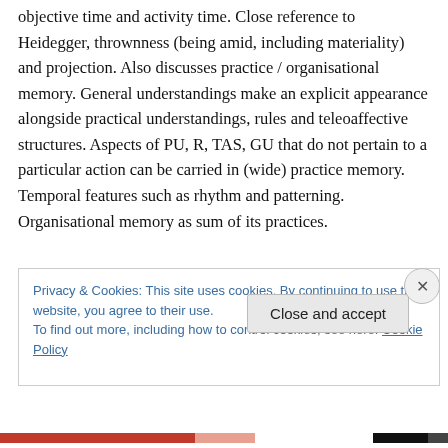objective time and activity time. Close reference to Heidegger, thrownness (being amid, including materiality) and projection. Also discusses practice / organisational memory. General understandings make an explicit appearance alongside practical understandings, rules and teleoaffective structures. Aspects of PU, R, TAS, GU that do not pertain to a particular action can be carried in (wide) practice memory. Temporal features such as rhythm and patterning. Organisational memory as sum of its practices.
Privacy & Cookies: This site uses cookies. By continuing to use this website, you agree to their use.
To find out more, including how to control cookies, see here: Cookie Policy
Close and accept